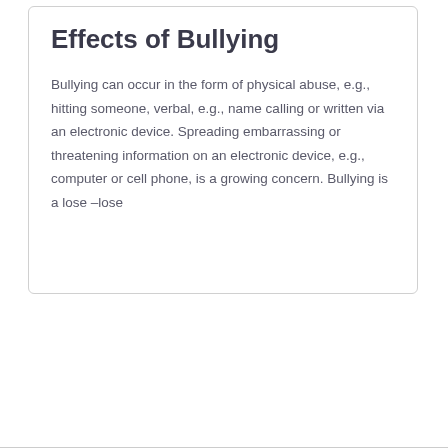Effects of Bullying
Bullying can occur in the form of physical abuse, e.g., hitting someone, verbal, e.g., name calling or written via an electronic device. Spreading embarrassing or threatening information on an electronic device, e.g., computer or cell phone, is a growing concern. Bullying is a lose –lose